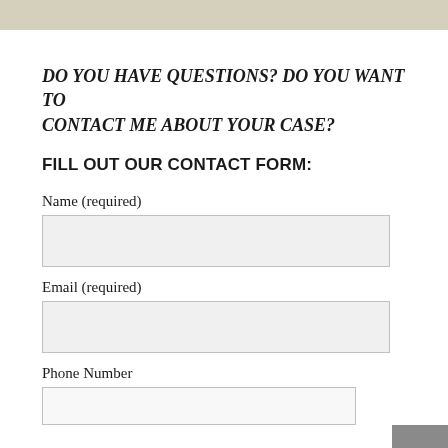DO YOU HAVE QUESTIONS? DO YOU WANT TO CONTACT ME ABOUT YOUR CASE?
FILL OUT OUR CONTACT FORM:
Name (required)
Email (required)
Phone Number